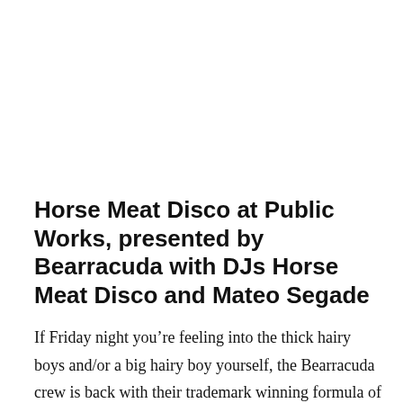Horse Meat Disco at Public Works, presented by Bearracuda with DJs Horse Meat Disco and Mateo Segade
If Friday night you’re feeling into the thick hairy boys and/or a big hairy boy yourself, the Bearracuda crew is back with their trademark winning formula of big boys and fat beats. These aren’t those Insta-twink fiber pill